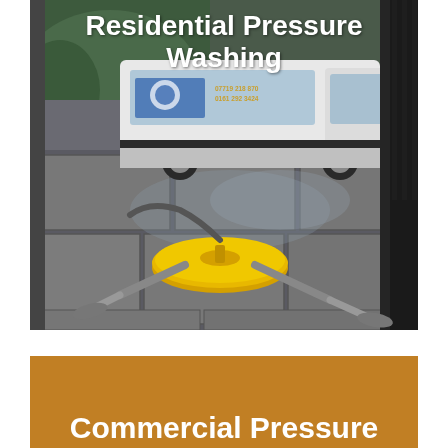[Figure (photo): A white service van with company branding and phone numbers (07719 218 870, 0161 292 3424) parked on a wet driveway with black iron gates visible. In the foreground, a yellow rotary surface cleaner pressure washing machine lies on large stone paving slabs.]
Residential Pressure Washing
[Figure (other): Amber/golden brown background block with white bold text reading 'Commercial Pressure' (partially visible, cut off at bottom)]
Commercial Pressure